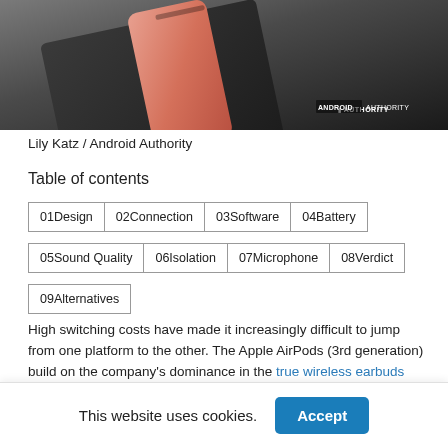[Figure (photo): Photo of a pink/rose-gold smartphone on a dark surface, with Android Authority watermark in the bottom-right corner]
Lily Katz / Android Authority
Table of contents
01Design
02Connection
03Software
04Battery
05Sound Quality
06Isolation
07Microphone
08Verdict
09Alternatives
High switching costs have made it increasingly difficult to jump from one platform to the other. The Apple AirPods (3rd generation) build on the company's dominance in the true wireless earbuds market by introducing more features limited to Apple devices. Similarly, Samsung has locked the
This website uses cookies.